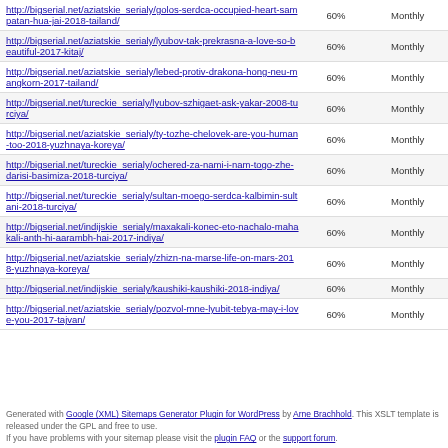| URL | Priority | Change Frequency |
| --- | --- | --- |
| http://bigserial.net/aziatskie_serialy/golos-serdca-occupied-heart-sampatan-hua-jai-2018-tailand/ | 60% | Monthly |
| http://bigserial.net/aziatskie_serialy/lyubov-tak-prekrasna-a-love-so-beautiful-2017-kitaj/ | 60% | Monthly |
| http://bigserial.net/aziatskie_serialy/lebed-protiv-drakona-hong-neu-mangkorn-2017-tailand/ | 60% | Monthly |
| http://bigserial.net/tureckie_serialy/lyubov-szhigaet-ask-yakar-2008-turciya/ | 60% | Monthly |
| http://bigserial.net/aziatskie_serialy/ty-tozhe-chelovek-are-you-human-too-2018-yuzhnaya-koreya/ | 60% | Monthly |
| http://bigserial.net/tureckie_serialy/ochered-za-nami-i-nam-togo-zhe-darisi-basimiza-2018-turciya/ | 60% | Monthly |
| http://bigserial.net/tureckie_serialy/sultan-moego-serdca-kalbimin-sultani-2018-turciya/ | 60% | Monthly |
| http://bigserial.net/indijskie_serialy/maxakali-konec-eto-nachalo-mahakali-anth-hi-aarambh-hai-2017-indiya/ | 60% | Monthly |
| http://bigserial.net/aziatskie_serialy/zhizn-na-marse-life-on-mars-2018-yuzhnaya-koreya/ | 60% | Monthly |
| http://bigserial.net/indijskie_serialy/kaushiki-kaushiki-2018-indiya/ | 60% | Monthly |
| http://bigserial.net/aziatskie_serialy/pozvol-mne-lyubit-tebya-may-i-love-you-2017-tajvan/ | 60% | Monthly |
Generated with Google (XML) Sitemaps Generator Plugin for WordPress by Arne Brachhold. This XSLT template is released under the GPL and free to use. If you have problems with your sitemap please visit the plugin FAQ or the support forum.